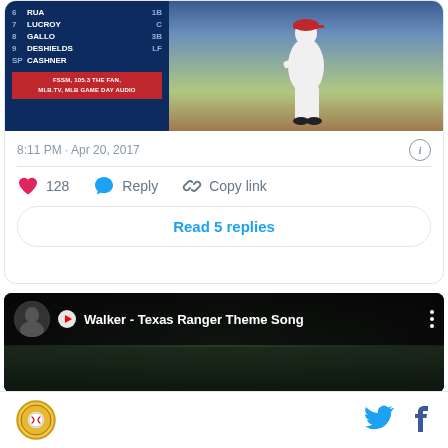[Figure (screenshot): Baseball lineup card showing players: 6 RUA 1B, 7 LUCROY C, 8 GALLO 3B, 9 DESHIELDS LF, SP CASHNER. Broadcast info: FSSM, 105.3 THE FAN, MLB.TV, MLB GAME DAY AUDIO. Right side shows a pitcher in white uniform.]
8:11 PM · Apr 20, 2017
128
Reply
Copy link
Read 5 replies
[Figure (screenshot): YouTube video thumbnail showing 'Walker - Texas Ranger Theme Song' with a dark/night scene thumbnail and three-dot menu icon.]
[Figure (logo): Site logo - circular golden/brown baseball-themed logo]
[Figure (logo): Twitter bird icon]
[Figure (logo): Facebook f icon]